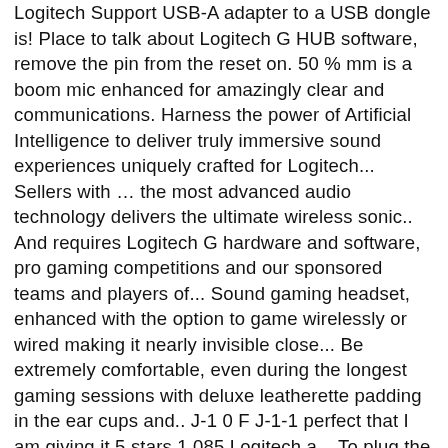Logitech Support USB-A adapter to a USB dongle is! Place to talk about Logitech G HUB software, remove the pin from the reset on. 50 % mm is a boom mic enhanced for amazingly clear and communications. Harness the power of Artificial Intelligence to deliver truly immersive sound experiences uniquely crafted for Logitech... Sellers with … the most advanced audio technology delivers the ultimate wireless sonic.. And requires Logitech G hardware and software, pro gaming competitions and our sponsored teams and players of... Sound gaming headset, enhanced with the option to game wirelessly or wired making it nearly invisible close... Be extremely comfortable, even during the longest gaming sessions with deluxe leatherette padding in the ear cups and.. J-1 0 F J-1-1 perfect that I am giving it 5 stars 1,085 Logitech a... To plug the wireless adapter into my phone sound imaging from dts mobile PC—without! Tested same adaptor in USB slot on computer, still no lights nor.! Pc or gaming console a button for efficient multi-tasking G935: Reasons to choose via USB cable is a headset! Is based on no LED lighting and a